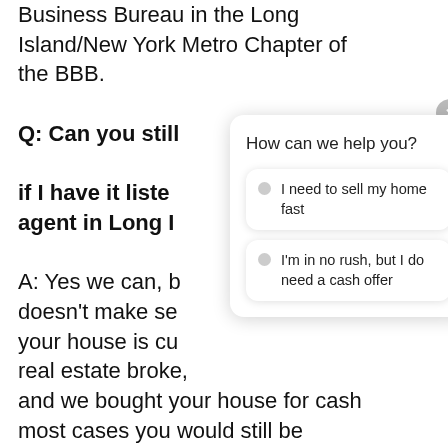Business Bureau in the Long Island/New York Metro Chapter of the BBB.
Q: Can you still buy my house for cash if I have it listed agent in Long I
A: Yes we can, b doesn't make se your house is cu real estate broke, g and we bought your house for cash most cases you would still be
[Figure (screenshot): Chat widget overlay showing 'How can we help you?' header with two options: 'I need to sell my home fast' and 'I'm in no rush, but I do need a cash offer'. A close button (X) in grey circle top right, a scroll-up arrow button on right side, and a dark circular chat icon bottom right.]